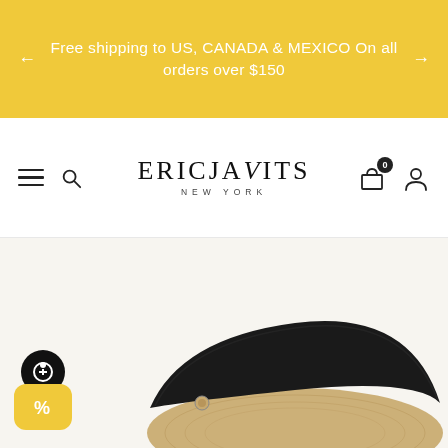Free shipping to US, CANADA & MEXICO On all orders over $150
[Figure (logo): Eric Javits New York logo with hamburger menu and search icon on left, shopping bag and user icon on right]
[Figure (photo): Product photo of a straw sun visor hat with wide black band/brim, shown from below/front angle on light beige background]